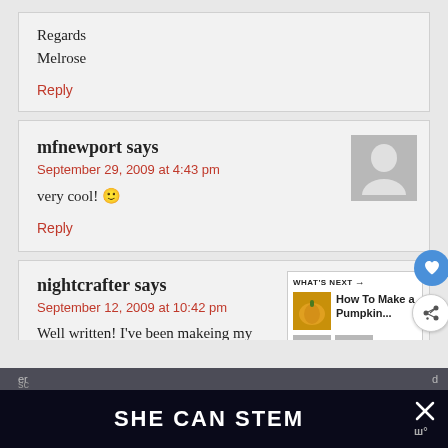Regards
Melrose
Reply
mfnewport says
September 29, 2009 at 4:43 pm
very cool! 🙂
Reply
nightcrafter says
September 12, 2009 at 10:42 pm
Well written! I've been makeing my own
WHAT'S NEXT → How To Make a Pumpkin...
SHE CAN STEM